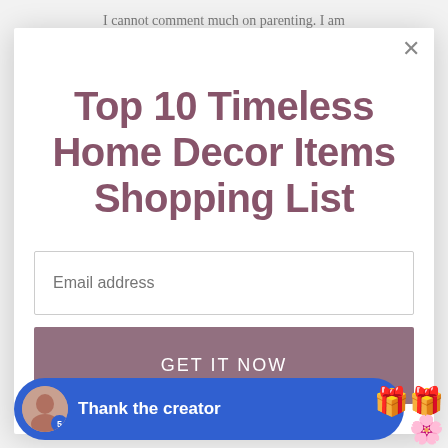I cannot comment much on parenting. I am
Top 10 Timeless Home Decor Items Shopping List
Email address
GET IT NOW
Thank the creator